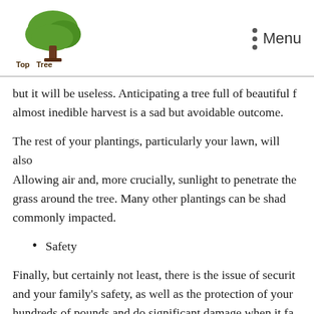Top Tree Service Co. | Menu
but it will be useless. Anticipating a tree full of beautiful f... almost inedible harvest is a sad but avoidable outcome.
The rest of your plantings, particularly your lawn, will also... Allowing air and, more crucially, sunlight to penetrate the... grass around the tree. Many other plantings can be shad... commonly impacted.
Safety
Finally, but certainly not least, there is the issue of securit... and your family's safety, as well as the protection of your... hundreds of pounds and do significant damage when it fa... and even death may occur. Trimming your trees can help